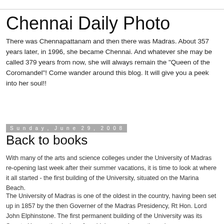Chennai Daily Photo
There was Chennapattanam and then there was Madras. About 357 years later, in 1996, she became Chennai. And whatever she may be called 379 years from now, she will always remain the "Queen of the Coromandel"! Come wander around this blog. It will give you a peek into her soul!!
Sunday, June 29, 2008
Back to books
With many of the arts and science colleges under the University of Madras re-opening last week after their summer vacations, it is time to look at where it all started - the first building of the University, situated on the Marina Beach.
The University of Madras is one of the oldest in the country, having been set up in 1857 by the then Governer of the Madras Presidency, Rt Hon. Lord John Elphinstone. The first permanent building of the University was its Senate House, the designs for which were chosen through an open competition. The